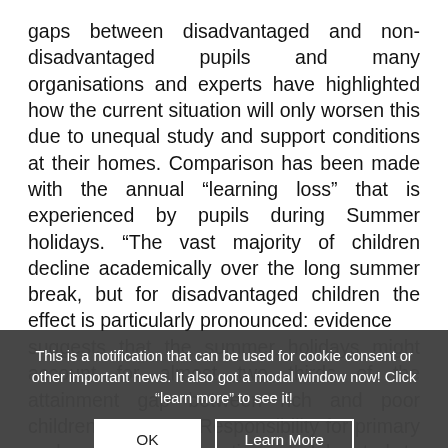gaps between disadvantaged and non-disadvantaged pupils and many organisations and experts have highlighted how the current situation will only worsen this due to unequal study and support conditions at their homes. Comparison has been made with the annual “learning loss” that is experienced by pupils during Summer holidays. “The vast majority of children decline academically over the long summer break, but for disadvantaged children the effect is particularly pronounced: evidence suggests that the summer holidays might account for almost two thirds of the attainment gap between rich and poor children at age 14. Responsibility for primary and secondary education is delegated to local authorities,
This is a notification that can be used for cookie consent or other important news. It also got a modal window now! Click “learn more” to see it!